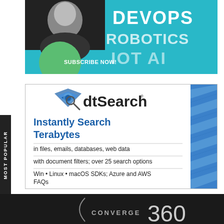[Figure (illustration): Advertisement banner with a man's face, teal/cyan background, text 'DEVOPS ROBOTICS IOT AI' and 'SUBSCRIBE NOW!' with a green circle element]
[Figure (illustration): dtSearch advertisement: logo with diamond/gear icon, text 'Instantly Search Terabytes', 'in files, emails, databases, web data', 'with document filters; over 25 search options', 'Win • Linux • macOS SDKs; Azure and AWS FAQs', with blue chevron pattern on right side]
[Figure (illustration): Converge 360 logo on dark/black background with large '360' text and parenthesis arc graphic]